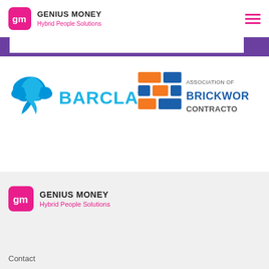GENIUS MONEY Hybrid People Solutions
[Figure (logo): Barclays logo — blue eagle and BARCLAYS text in cyan/blue]
[Figure (logo): Association of Brickwork Contractors logo — blue and orange block grid with ASSOCIATION OF BRICKWORK CONTRACTORS text]
[Figure (logo): Genius Money logo in footer — pink gm icon with GENIUS MONEY and Hybrid People Solutions text]